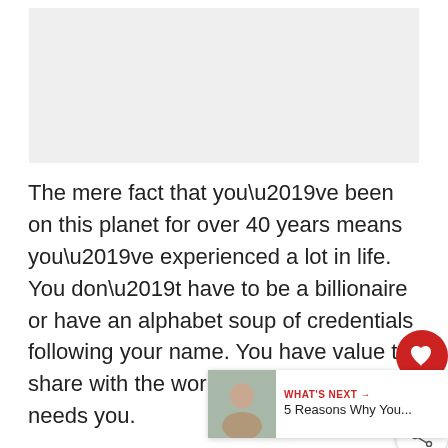[Figure (photo): Image placeholder at the top of the page]
The mere fact that you’ve been on this planet for over 40 years means you’ve experienced a lot in life. You don’t have to be a billionaire or have an alphabet soup of credentials following your name. You have value to share with the world, and the world needs you.
2. You’ve already done hard things.
Whether you’ve been at a job for the pa... years or you’ve been raising a family, you’ve